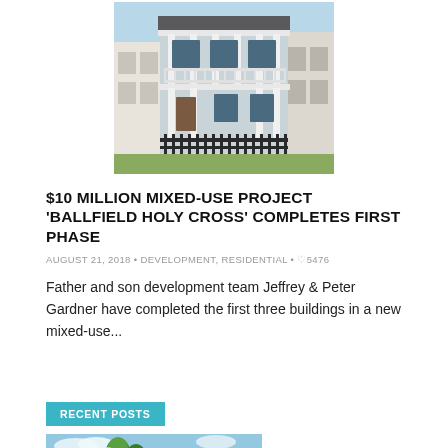[Figure (photo): Two-story light blue/grey New Orleans-style double shotgun house with white columns and balcony railing on the second floor, iron fence at street level, neighboring buildings visible on both sides.]
$10 MILLION MIXED-USE PROJECT 'BALLFIELD HOLY CROSS' COMPLETES FIRST PHASE
AUGUST 21, 2018 • DEVELOPMENT, RESIDENTIAL • ♡5476
Father and son development team Jeffrey & Peter Gardner have completed the first three buildings in a new mixed-use...
RECENT POSTS
[Figure (photo): Partial thumbnail of a building with trees and a street lamp, bright blue sky.]